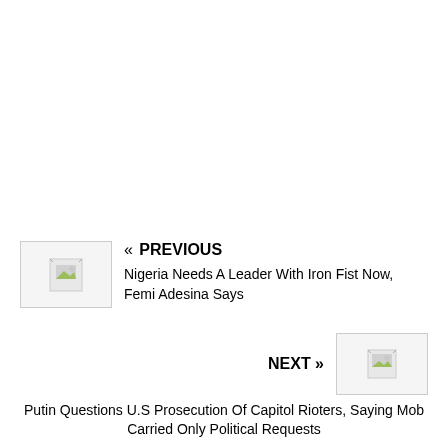[Figure (other): Thumbnail image placeholder for Security article (broken image icon)]
« PREVIOUS
Nigeria Needs A Leader With Iron Fist Now, Femi Adesina Says
NEXT »
[Figure (other): Thumbnail image placeholder for next article (broken image icon)]
Putin Questions U.S Prosecution Of Capitol Rioters, Saying Mob Carried Only Political Requests